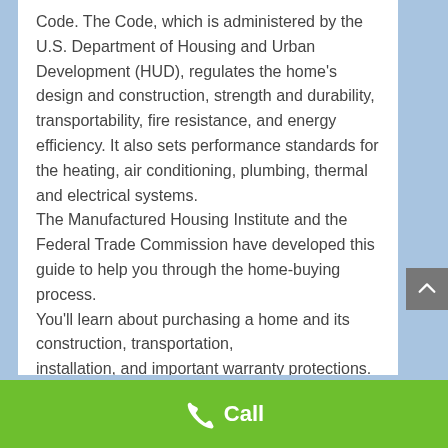Code. The Code, which is administered by the U.S. Department of Housing and Urban Development (HUD), regulates the home's design and construction, strength and durability, transportability, fire resistance, and energy efficiency. It also sets performance standards for the heating, air conditioning, plumbing, thermal and electrical systems. The Manufactured Housing Institute and the Federal Trade Commission have developed this guide to help you through the home-buying process. You'll learn about purchasing a home and its construction, transportation, installation, and important warranty protections. The
[Figure (other): Green call bar at the bottom with a phone icon and the word 'Call']